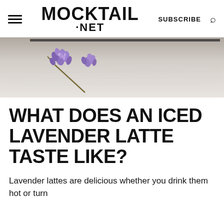MOCKTAIL .NET | SUBSCRIBE
[Figure (photo): Partial view of lavender sprigs on a light gray/white surface, photographed from above. The image is cropped showing only the bottom portion with lavender flowers visible on the left side.]
WHAT DOES AN ICED LAVENDER LATTE TASTE LIKE?
Lavender lattes are delicious whether you drink them hot or turn